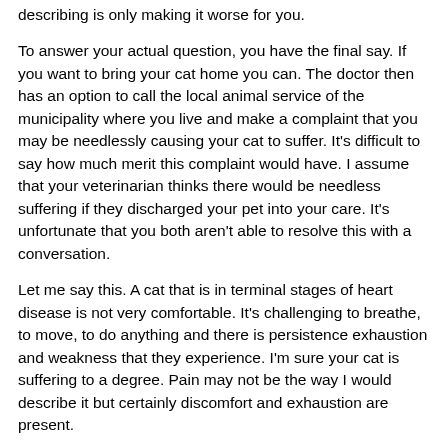describing is only making it worse for you.
To answer your actual question, you have the final say. If you want to bring your cat home you can. The doctor then has an option to call the local animal service of the municipality where you live and make a complaint that you may be needlessly causing your cat to suffer. It's difficult to say how much merit this complaint would have. I assume that your veterinarian thinks there would be needless suffering if they discharged your pet into your care. It's unfortunate that you both aren't able to resolve this with a conversation.
Let me say this. A cat that is in terminal stages of heart disease is not very comfortable. It's challenging to breathe, to move, to do anything and there is persistence exhaustion and weakness that they experience. I'm sure your cat is suffering to a degree. Pain may not be the way I would describe it but certainly discomfort and exhaustion are present.
I do not have a stake in this issue. I'm going to give you an honest unbiased response. I truly believe that your cat will suffer further if it is allowed to die naturally. As a veterinarian,